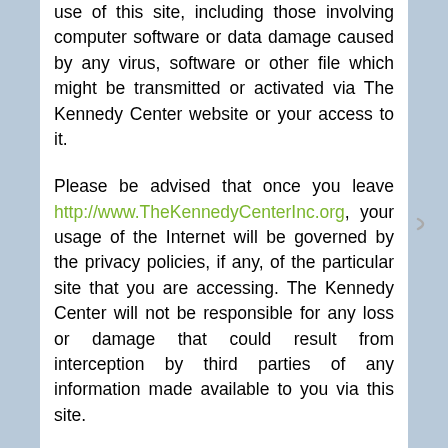use of this site, including those involving computer software or data damage caused by any virus, software or other file which might be transmitted or activated via The Kennedy Center website or your access to it.
Please be advised that once you leave http://www.TheKennedyCenterInc.org, your usage of the Internet will be governed by the privacy policies, if any, of the particular site that you are accessing. The Kennedy Center will not be responsible for any loss or damage that could result from interception by third parties of any information made available to you via this site.
Comments on any aspect of this statement may be addressed to: The Kennedy Center, Inc. 2440 Reservoir Avenue Trumbull, CT 06611 203.365.8522